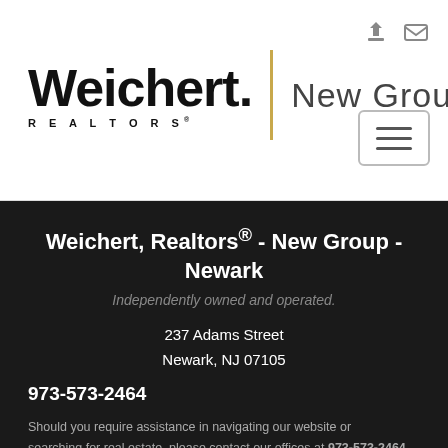[Figure (logo): Weichert Realtors New Group logo with yellow divider bar]
Weichert, Realtors® - New Group - Newark
Independently owned and operated.
237 Adams Street
Newark, NJ 07105
973-573-2464
Should you require assistance in navigating our website or searching for real estate, please contact our offices at 973-573-2464.